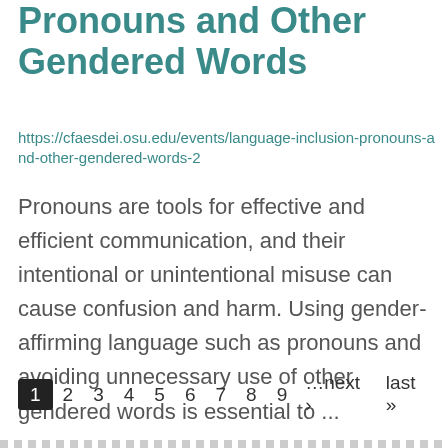Pronouns and Other Gendered Words
https://cfaesdei.osu.edu/events/language-inclusion-pronouns-and-other-gendered-words-2
Pronouns are tools for effective and efficient communication, and their intentional or unintentional misuse can cause confusion and harm. Using gender-affirming language such as pronouns and avoiding unnecessary use of other gendered words is essential to ...
1 2 3 4 5 6 7 8 9 …next › last »